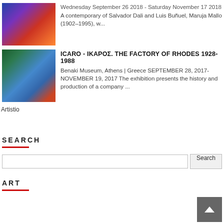Wednesday September 26 2018 - Saturday November 17 2018 A contemporary of Salvador Dali and Luis Buñuel, Maruja Mallo (1902–1995), w...
[Figure (photo): Painting thumbnail showing a blue-robed figure with red and orange tones]
ICARO - ΙΚΑΡΟΣ. THE FACTORY OF RHODES 1928-1988
Benaki Museum, Athens | Greece SEPTEMBER 28, 2017-NOVEMBER 19, 2017 The exhibition presents the history and production of a company ...
[Figure (photo): Decorative ceramic plate with green/blue floral and bird motifs]
Artistio
SEARCH
Search
ART